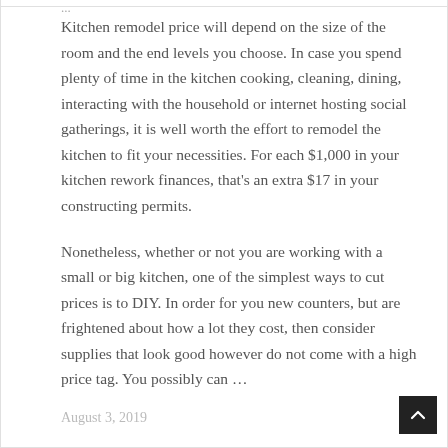...
Kitchen remodel price will depend on the size of the room and the end levels you choose. In case you spend plenty of time in the kitchen cooking, cleaning, dining, interacting with the household or internet hosting social gatherings, it is well worth the effort to remodel the kitchen to fit your necessities. For each $1,000 in your kitchen rework finances, that’s an extra $17 in your constructing permits.
Nonetheless, whether or not you are working with a small or big kitchen, one of the simplest ways to cut prices is to DIY. In order for you new counters, but are frightened about how a lot they cost, then consider supplies that look good however do not come with a high price tag. You possibly can …
August 3, 2019